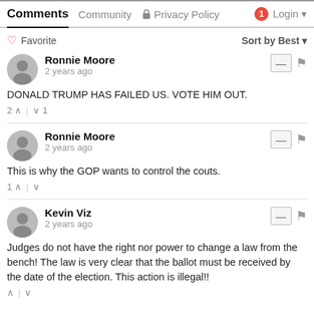Comments | Community | Privacy Policy | Login
Favorite | Sort by Best
Ronnie Moore
2 years ago
DONALD TRUMP HAS FAILED US. VOTE HIM OUT.
2 ^ | v 1
Ronnie Moore
2 years ago
This is why the GOP wants to control the couts.
1 ^ | v
Kevin Viz
2 years ago
Judges do not have the right nor power to change a law from the bench! The law is very clear that the ballot must be received by the date of the election. This action is illegal!!
^ | v